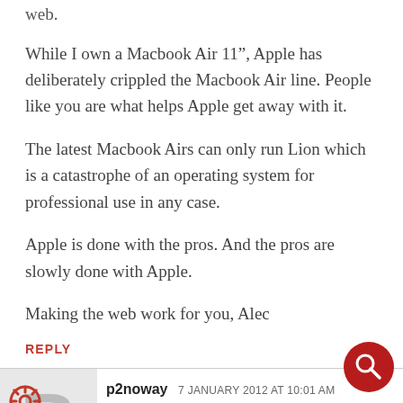web.
While I own a Macbook Air 11", Apple has deliberately crippled the Macbook Air line. People like you are what helps Apple get away with it.
The latest Macbook Airs can only run Lion which is a catastrophe of an operating system for professional use in any case.
Apple is done with the pros. And the pros are slowly done with Apple.
Making the web work for you, Alec
REPLY
p2noway  7 JANUARY 2012 AT 10:01 AM
I love apple.